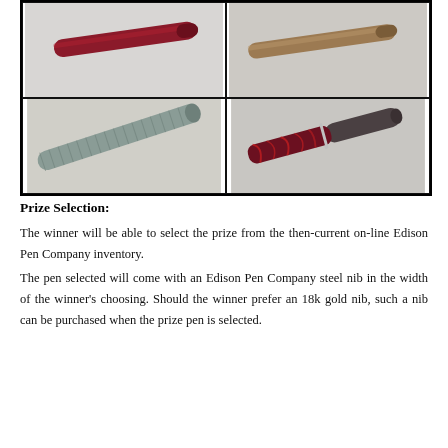[Figure (photo): Four-panel photo grid showing different fountain pens. Top-left: red/burgundy pen body diagonal. Top-right: brown/tan pen body diagonal. Bottom-left: silver/gray textured pen body diagonal. Bottom-right: dark red marbled pen with cap, diagonal.]
Prize Selection:
The winner will be able to select the prize from the then-current on-line Edison Pen Company inventory. The pen selected will come with an Edison Pen Company steel nib in the width of the winner’s choosing. Should the winner prefer an 18k gold nib, such a nib can be purchased when the prize pen is selected.